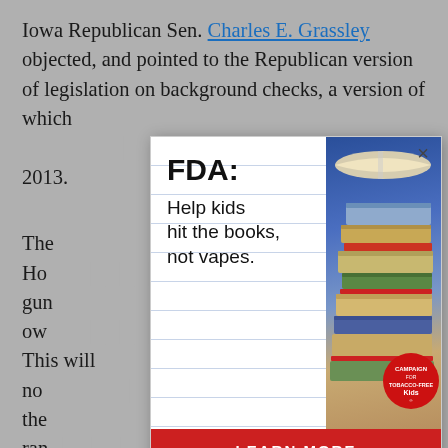Iowa Republican Sen. Charles E. Grassley objected, and pointed to the Republican version of legislation on background checks, a version of which [ad covered] 2013.
[Figure (other): FDA advertisement overlay: 'FDA: Help kids hit the books, not vapes.' with a stack of books photo, LEARN MORE red button, and Campaign for Tobacco-Free Kids badge. Has an X close button in top right.]
The Ho[use passed a bill strengthening la]wful gun ow[ners' ability to...]. This will no[t...re]solve," the ran[king member of the Judiciary Comm]ittee said as he objected to Murphy's request.
Far from the Capitol, Golden State Warriors head [coach Steve Kerr was calling at the Senate...]